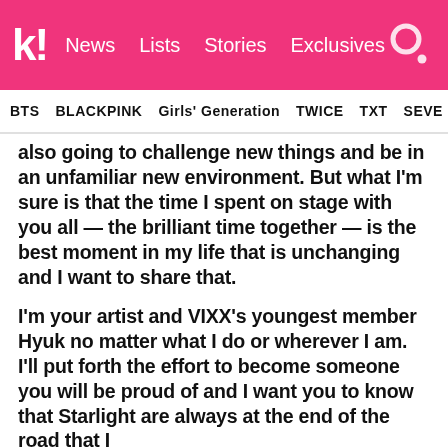k! News Lists Stories Exclusives
BTS BLACKPINK Girls' Generation TWICE TXT SEVE
also going to challenge new things and be in an unfamiliar new environment. But what I'm sure is that the time I spent on stage with you all — the brilliant time together — is the best moment in my life that is unchanging and I want to share that.
I'm your artist and VIXX's youngest member Hyuk no matter what I do or wherever I am. I'll put forth the effort to become someone you will be proud of and I want you to know that Starlight are always at the end of the road that I